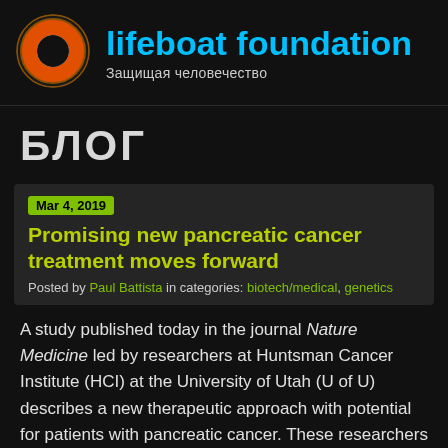[Figure (logo): Lifeboat Foundation logo: life preserver ring in orange and white, circular shape on dark background]
lifeboat foundation
Защищая человечество
БЛОГ
Mar 4, 2019
Promising new pancreatic cancer treatment moves forward
Posted by Paul Battista in categories: biotech/medical, genetics
A study published today in the journal Nature Medicine led by researchers at Huntsman Cancer Institute (HCI) at the University of Utah (U of U) describes a new therapeutic approach with potential for patients with pancreatic cancer. These researchers discovered a combination drug therapy